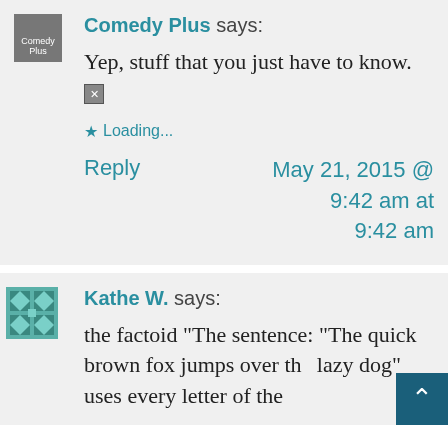Comedy Plus says:
Yep, stuff that you just have to know.
Loading...
Reply
May 21, 2015 @ 9:42 am at 9:42 am
Kathe W. says:
the factoid "The sentence: "The quick brown fox jumps over the lazy dog" uses every letter of the